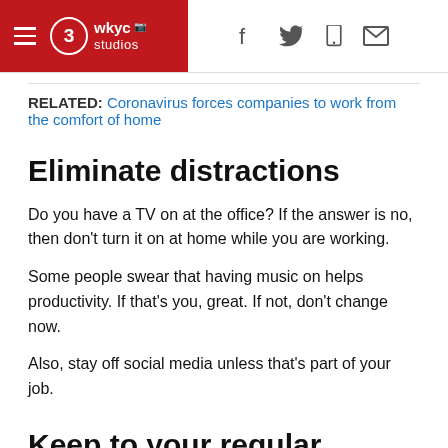WKYC Studios — hamburger menu, logo, social icons (f, twitter, phone, mail)
RELATED: Coronavirus forces companies to work from the comfort of home
Eliminate distractions
Do you have a TV on at the office? If the answer is no, then don't turn it on at home while you are working.
Some people swear that having music on helps productivity. If that's you, great. If not, don't change now.
Also, stay off social media unless that's part of your job.
Keep to your regular routine